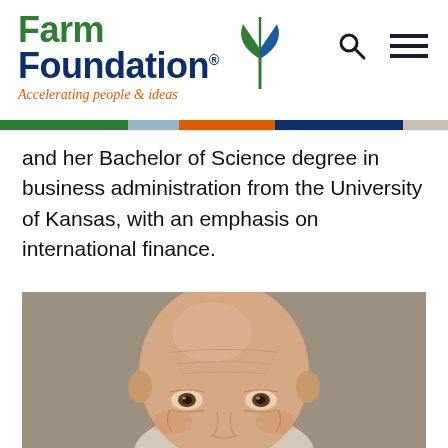[Figure (logo): Farm Foundation logo with plant graphic and tagline 'Accelerating people & ideas']
and her Bachelor of Science degree in business administration from the University of Kansas, with an emphasis on international finance.
[Figure (photo): Headshot photo of a bald middle-aged man smiling, against a grey-beige background]